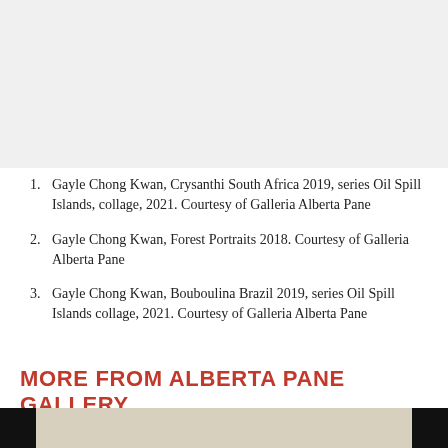[Figure (photo): Top portion of an image, light gray/white background visible, image content cropped]
Gayle Chong Kwan, Crysanthi South Africa 2019, series Oil Spill Islands, collage, 2021. Courtesy of Galleria Alberta Pane
Gayle Chong Kwan, Forest Portraits 2018. Courtesy of Galleria Alberta Pane
Gayle Chong Kwan, Bouboulina Brazil 2019, series Oil Spill Islands collage, 2021. Courtesy of Galleria Alberta Pane
MORE FROM ALBERTA PANE GALLERY
[Figure (photo): Bottom strip of an artwork or photograph, showing light-toned vertical stripes with black panels on each side]